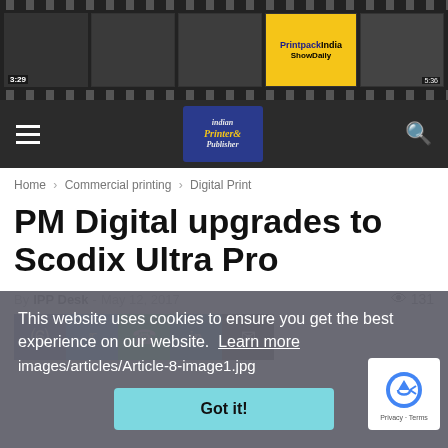[Figure (screenshot): Film strip banner showing video thumbnails with timestamps 3:29 and 5:36, including a PrintpackIndia ShowDaily logo frame]
Indian Printer & Publisher — navigation bar with hamburger menu and search icon
Home › Commercial printing › Digital Print
PM Digital upgrades to Scodix Ultra Pro
By IPP Desk - May 12, 2017  👁 131
[Figure (screenshot): Social sharing buttons: Facebook, Twitter, WhatsApp, LinkedIn, Email]
This website uses cookies to ensure you get the best experience on our website.  Learn more
images/articles/Article-8-image1.jpg
Got it!